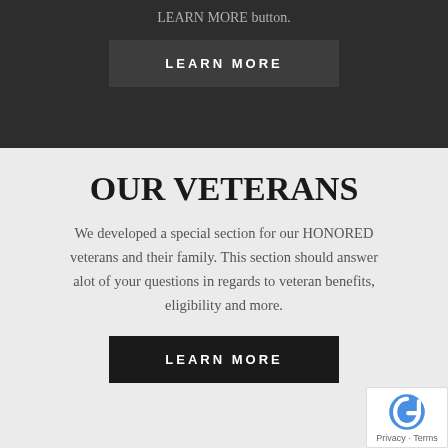LEARN MORE button.
[Figure (other): Dark grey button labeled LEARN MORE with wide letter spacing]
OUR VETERANS
We developed a special section for our HONORED veterans and their family. This section should answer alot of your questions in regards to veteran benefits, eligibility and more.
[Figure (other): Black button labeled LEARN MORE with wide letter spacing]
[Figure (other): reCAPTCHA badge with Privacy - Terms text]